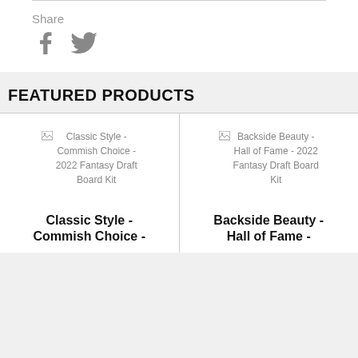Share
[Figure (illustration): Facebook and Twitter social sharing icons]
FEATURED PRODUCTS
[Figure (photo): Classic Style - Commish Choice - 2022 Fantasy Draft Board Kit product image (broken/placeholder)]
Classic Style - Commish Choice -
[Figure (photo): Backside Beauty - Hall of Fame - 2022 Fantasy Draft Board Kit product image (broken/placeholder)]
Backside Beauty - Hall of Fame -